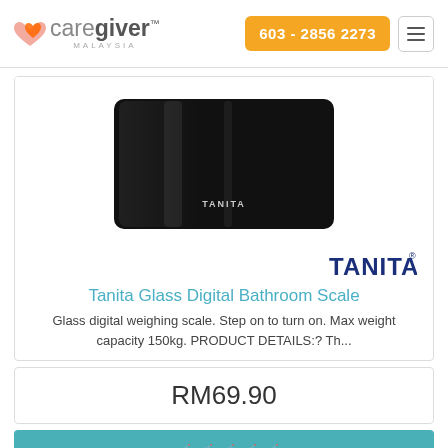caregiver MALAYSIA | 603 - 2856 2273
[Figure (photo): Tanita black glass digital bathroom scale, top-down view on white background]
[Figure (logo): TANITA brand logo in dark blue bold text]
Tanita Glass Digital Bathroom Scale
Glass digital weighing scale. Step on to turn on. Max weight capacity 150kg. PRODUCT DETAILS:? Th...
RM69.90
?????